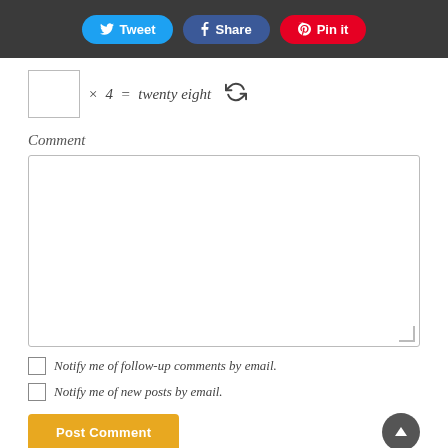Tweet  Share  Pin it
Comment
Notify me of follow-up comments by email.
Notify me of new posts by email.
Post Comment